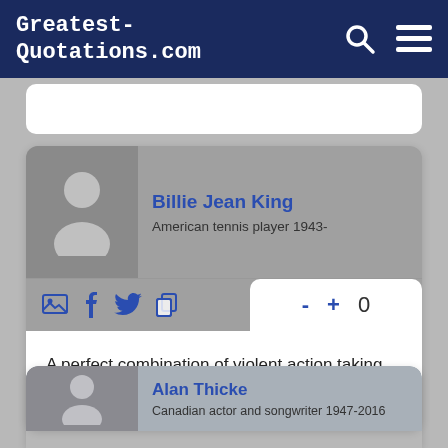Greatest-Quotations.com
[Figure (screenshot): Billie Jean King quote card with photo placeholder, social share icons, vote buttons showing 0, and quote text]
Billie Jean King
American tennis player 1943-
A perfect combination of violent action taking place in an atmosphere of total tranquility.
Alan Thicke
Canadian actor and songwriter 1947-2016